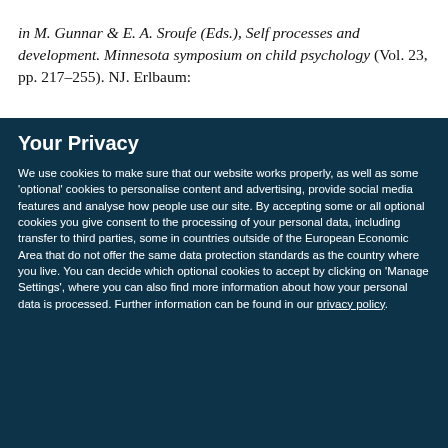in M. Gunnar & E. A. Sroufe (Eds.), Self processes and development. Minnesota symposium on child psychology (Vol. 23, pp. 217–255). NJ. Erlbaum:
Your Privacy
We use cookies to make sure that our website works properly, as well as some 'optional' cookies to personalise content and advertising, provide social media features and analyse how people use our site. By accepting some or all optional cookies you give consent to the processing of your personal data, including transfer to third parties, some in countries outside of the European Economic Area that do not offer the same data protection standards as the country where you live. You can decide which optional cookies to accept by clicking on 'Manage Settings', where you can also find more information about how your personal data is processed. Further information can be found in our privacy policy.
Accept all cookies
Manage preferences